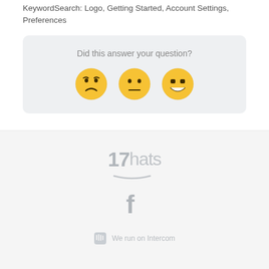KeywordSearch: Logo, Getting Started, Account Settings, Preferences
[Figure (infographic): Feedback widget with question 'Did this answer your question?' and three emoji reaction faces: disappointed (frown), neutral, and happy (big smile)]
[Figure (logo): 17hats logo in light grey]
[Figure (other): Facebook 'f' icon in light grey]
We run on Intercom